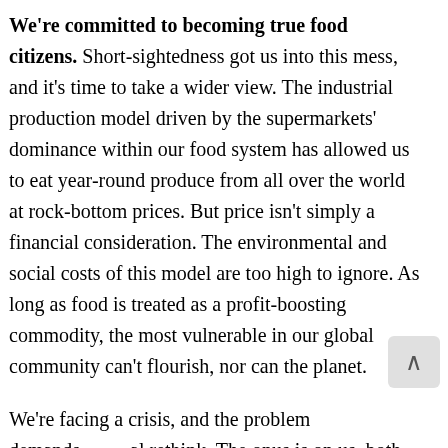We're committed to becoming true food citizens. Short-sightedness got us into this mess, and it's time to take a wider view. The industrial production model driven by the supermarkets' dominance within our food system has allowed us to eat year-round produce from all over the world at rock-bottom prices. But price isn't simply a financial consideration. The environmental and social costs of this model are too high to ignore. As long as food is treated as a profit-boosting commodity, the most vulnerable in our global community can't flourish, nor can the planet.

We're facing a crisis, and the problem demands a radical rethink. The onus is on us, both as traders and as